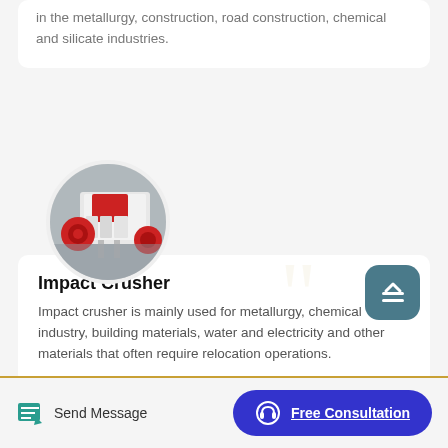in the metallurgy, construction, road construction, chemical and silicate industries.
[Figure (photo): Circular cropped photo of a white and red impact crusher machine in an industrial setting]
Impact Crusher
Impact crusher is mainly used for metallurgy, chemical industry, building materials, water and electricity and other materials that often require relocation operations.
Send Message
Free Consultation